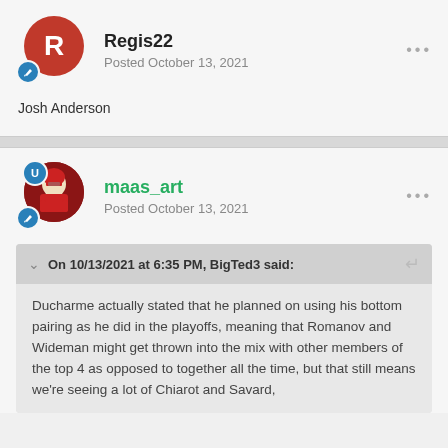[Figure (other): User avatar for Regis22 - red circle with letter R]
Regis22
Posted October 13, 2021
Josh Anderson
[Figure (other): User avatar for maas_art - hockey player image]
maas_art
Posted October 13, 2021
On 10/13/2021 at 6:35 PM, BigTed3 said:
Ducharme actually stated that he planned on using his bottom pairing as he did in the playoffs, meaning that Romanov and Wideman might get thrown into the mix with other members of the top 4 as opposed to together all the time, but that still means we're seeing a lot of Chiarot and Savard,